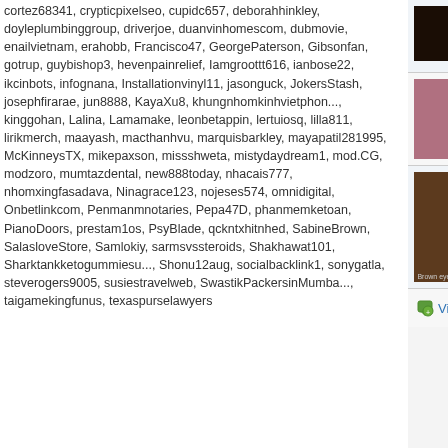cortez68341, crypticpixelseo, cupidc657, deborahhinkley, doyleplumbinggroup, driverjoe, duanvinhomescom, dubmovie, enailvietnam, erahobb, Francisco47, GeorgePaterson, Gibsonfan, gotrup, guybishop3, hevenpainrelief, Iamgroottt616, ianbose22, ikcinbots, infognana, Installationvinyl11, jasonguck, JokersStash, josephfirarae, jun8888, KayaXu8, khungnhomkinhvietphon..., kinggohan, Lalina, Lamamake, leonbetappin, lertuiosq, lilla811, lirikmerch, maayash, macthanhvu, marquisbarkley, mayapatil281995, McKinneysTX, mikepaxson, missshweta, mistydaydream1, mod.CG, modzoro, mumtazdental, new888today, nhacais777, nhomxingfasadava, Ninagrace123, nojeses574, omnidigital, Onbetlinkcom, Penmanmnotaries, Pepa47D, phanmemketoan, PianoDoors, prestam1os, PsyBlade, qckntxhitnhed, SabineBrown, SalasloveStore, Samlokiy, sarmsvssteroids, Shakhawat101, Sharktankketogummiesu..., Shonu12aug, socialbacklink1, sonygatla, steverogers9005, susiestravelweb, SwastikPackersinMumba..., taigamekingfunus, texaspurselawyers
holy moly
Posted by lucille80 on 05/18/21 at 07:22
this ant is huge....
Posted by Alexandra66 on 05/18/21 at 0
wow
View All Co...